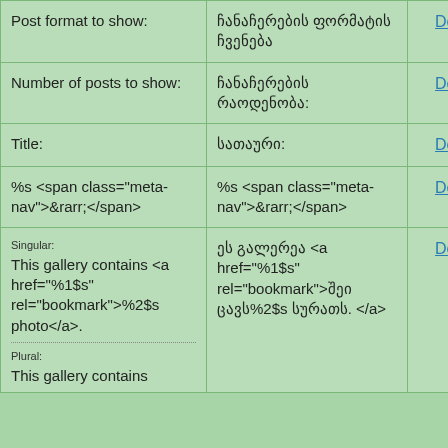| Post format to show: | ჩანაჩერების ფორმატის ჩვენება | Details |
| Number of posts to show: | ჩანაჩერების რაოდენობა: | Details |
| Title: | სათაური: | Details |
| %s <span class="meta-nav">&rarr;</span> | %s <span class="meta-nav">&rarr;</span> | Details |
| Singular:
This gallery contains <a href="%1$s" rel="bookmark">%2$s photo</a>.
Plural:
This gallery contains | ეს გალერეა <a href="%1$s" rel="bookmark">შეი ცავს%2$s სურათს.</a> | Details |